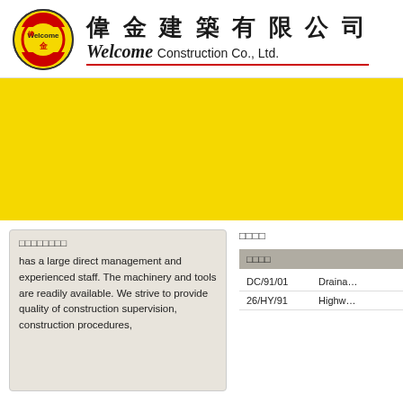[Figure (logo): Welcome Construction Co., Ltd. circular logo with red and yellow design]
偉金建築有限公司 Welcome Construction Co., Ltd.
[Figure (photo): Large yellow banner image area]
□□□□□□□□
has a large direct management and experienced staff. The machinery and tools are readily available. We strive to provide quality of construction supervision, construction procedures,
□□□□
| □□□□ |  |
| --- | --- |
| DC/91/01 | Draina… |
| 26/HY/91 | Highw… |